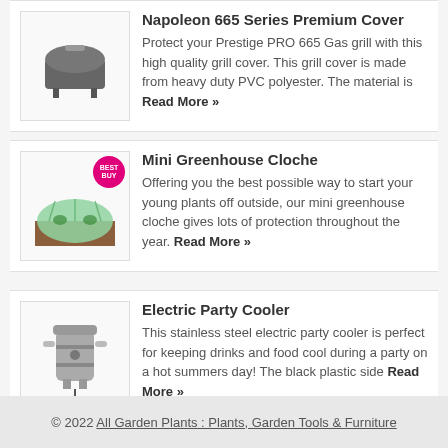[Figure (illustration): Napoleon 665 series premium grill cover - dark grey BBQ cover shape]
Napoleon 665 Series Premium Cover
Protect your Prestige PRO 665 Gas grill with this high quality grill cover. This grill cover is made from heavy duty PVC polyester. The material is Read More »
[Figure (photo): Mini Greenhouse Cloche - green tunnel cloche over soil with plants, Best Buy badge]
Mini Greenhouse Cloche
Offering you the best possible way to start your young plants off outside, our mini greenhouse cloche gives lots of protection throughout the year. Read More »
[Figure (photo): Electric Party Cooler - stainless steel electric barrel cooler with handles]
Electric Party Cooler
This stainless steel electric party cooler is perfect for keeping drinks and food cool during a party on a hot summers day! The black plastic side Read More »
© 2022 All Garden Plants : Plants, Garden Tools & Furniture